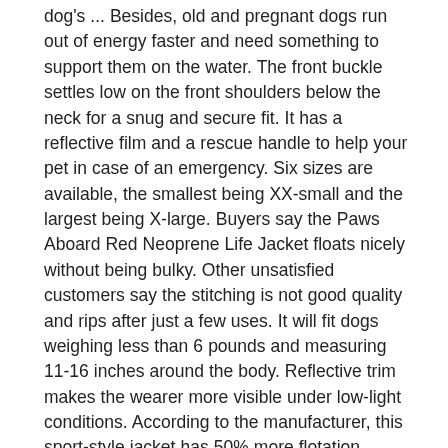dog's ... Besides, old and pregnant dogs run out of energy faster and need something to support them on the water. The front buckle settles low on the front shoulders below the neck for a snug and secure fit. It has a reflective film and a rescue handle to help your pet in case of an emergency. Six sizes are available, the smallest being XX-small and the largest being X-large. Buyers say the Paws Aboard Red Neoprene Life Jacket floats nicely without being bulky. Other unsatisfied customers say the stitching is not good quality and rips after just a few uses. It will fit dogs weighing less than 6 pounds and measuring 11-16 inches around the body. Reflective trim makes the wearer more visible under low-light conditions. According to the manufacturer, this sport-style jacket has 50% more flotation material than other models. It facilitates the person who does the pulling and it also distributes the pressure exerted by the straps onto the dog's body. The EzyDog Life Jacket is the ideal Doggy